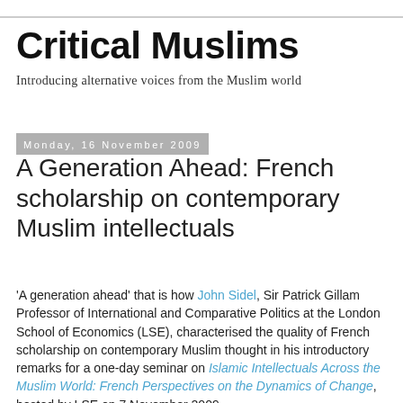Critical Muslims
Introducing alternative voices from the Muslim world
Monday, 16 November 2009
A Generation Ahead: French scholarship on contemporary Muslim intellectuals
'A generation ahead' that is how John Sidel, Sir Patrick Gillam Professor of International and Comparative Politics at the London School of Economics (LSE), characterised the quality of French scholarship on contemporary Muslim thought in his introductory remarks for a one-day seminar on Islamic Intellectuals Across the Muslim World: French Perspectives on the Dynamics of Change, hosted by LSE on 7 November 2009.